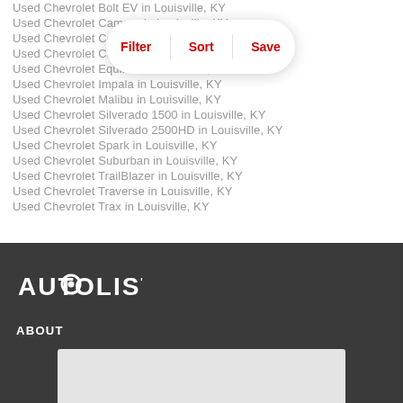Used Chevrolet Bolt EV in Louisville, KY
Used Chevrolet Camaro in Louisville, KY
Used Chevrolet Colorado in Louisville, KY
Used Chevrolet Cruze in Louisville, KY
Used Chevrolet Equinox in Louisville, KY
Used Chevrolet Impala in Louisville, KY
Used Chevrolet Malibu in Louisville, KY
Used Chevrolet Silverado 1500 in Louisville, KY
Used Chevrolet Silverado 2500HD in Louisville, KY
Used Chevrolet Spark in Louisville, KY
Used Chevrolet Suburban in Louisville, KY
Used Chevrolet TrailBlazer in Louisville, KY
Used Chevrolet Traverse in Louisville, KY
Used Chevrolet Trax in Louisville, KY
[Figure (logo): Autolist logo in white on dark gray background]
ABOUT